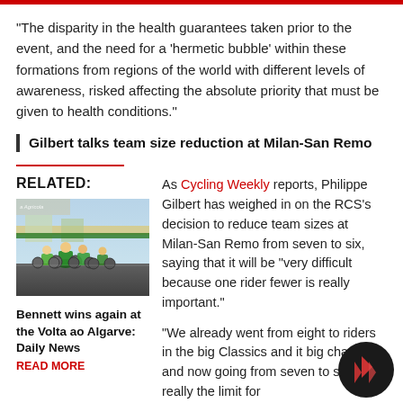“The disparity in the health guarantees taken prior to the event, and the need for a ‘hermetic bubble’ within these formations from regions of the world with different levels of awareness, risked affecting the absolute priority that must be given to health conditions.”
Gilbert talks team size reduction at Milan-San Remo
RELATED:
[Figure (photo): Cyclists racing in a peloton, wearing green jerseys, at the Volta ao Algarve race]
Bennett wins again at the Volta ao Algarve: Daily News
READ MORE
As Cycling Weekly reports, Philippe Gilbert has weighed in on the RCS’s decision to reduce team sizes at Milan-San Remo from seven to six, saying that it will be “very difficult because one rider fewer is really important.”
“We already went from eight to riders in the big Classics and it big change, and now going from seven to six … it’s really the limit for